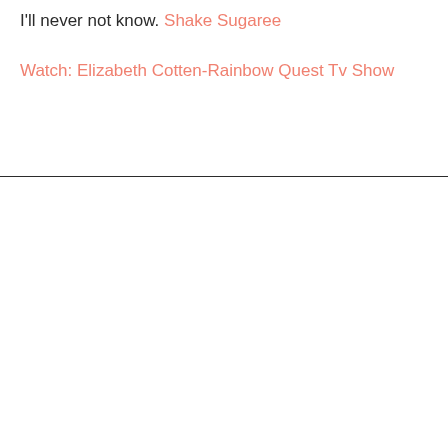I'll never not know. Shake Sugaree
Watch: Elizabeth Cotten-Rainbow Quest Tv Show